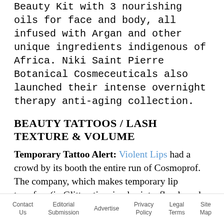Beauty Kit with 3 nourishing oils for face and body, all infused with Argan and other unique ingredients indigenous of Africa. Niki Saint Pierre Botanical Cosmeceuticals also launched their intense overnight therapy anti-aging collection.
BEAUTY TATTOOS / LASH TEXTURE & VOLUME
Temporary Tattoo Alert: Violent Lips had a crowd by its booth the entire run of Cosmoprof. The company, which makes temporary lip transfers (in Glitterati, animal prints, florals and fishnet patterns) is sold in Sephora, and launching Violent Eyes this month with glitter transfers in cat eye
Contact Us   Editorial Submission   Advertise   Privacy Policy   Legal Terms   Site Map